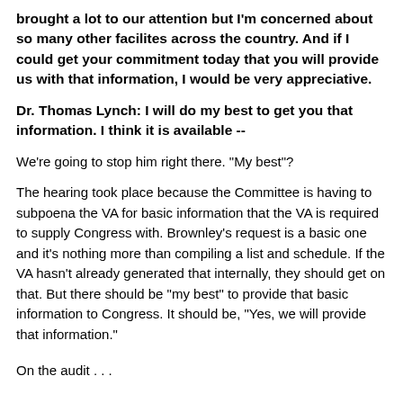brought a lot to our attention but I'm concerned about so many other facilites across the country.  And if I could get your commitment today that you will provide us with that information, I would be very appreciative.
Dr. Thomas Lynch:  I will do my best to get you that information.  I think it is available --
We're going to stop him right there.  "My best"?
The hearing took place because the Committee is having to subpoena the VA for basic information that the VA is required to supply Congress with.  Brownley's request is a basic one and it's nothing more than compiling a list and schedule.  If the VA hasn't already generated that internally, they should get on that.  But there should be "my best" to provide that basic information to Congress.  It should be, "Yes, we will provide that information."
On the audit . . .